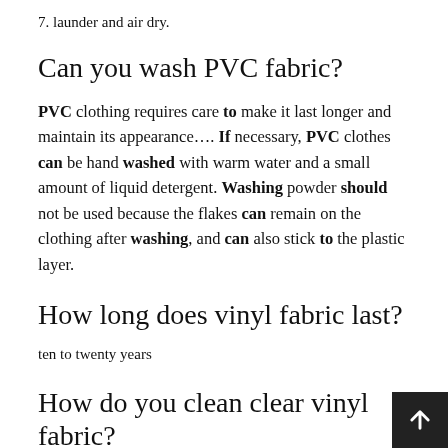7. launder and air dry.
Can you wash PVC fabric?
PVC clothing requires care to make it last longer and maintain its appearance…. If necessary, PVC clothes can be hand washed with warm water and a small amount of liquid detergent. Washing powder should not be used because the flakes can remain on the clothing after washing, and can also stick to the plastic layer.
How long does vinyl fabric last?
ten to twenty years
How do you clean clear vinyl fabric?
No matter where your boat lives, use high quality,